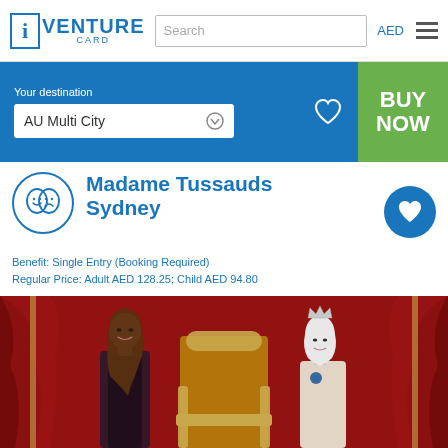iVENTURE CARD | Search | AED
Your destination
AU Multi City
BUY NOW
Madame Tussauds Sydney
Benefit: Single Entry (Booking Required)
Regular Price: Adult AED 128.25; Child AED 94.80
[Figure (photo): Wax figures of two women in a red-draped royal setting at Madame Tussauds Sydney]